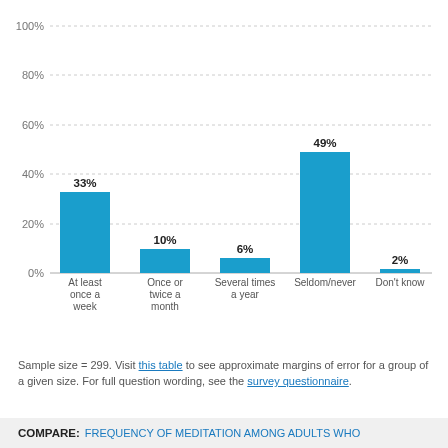[Figure (bar-chart): ]
Sample size = 299. Visit this table to see approximate margins of error for a group of a given size. For full question wording, see the survey questionnaire.
COMPARE: FREQUENCY OF MEDITATION AMONG ADULTS WHO